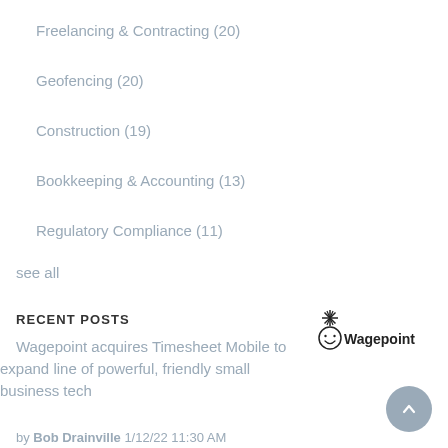Freelancing & Contracting (20)
Geofencing (20)
Construction (19)
Bookkeeping & Accounting (13)
Regulatory Compliance (11)
see all
RECENT POSTS
Wagepoint acquires Timesheet Mobile to expand line of powerful, friendly small business tech
[Figure (logo): Wagepoint logo with stick figure mascot and 'Wagepoint' text]
by Bob Drainville 1/12/22 11:30 AM